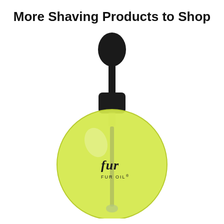More Shaving Products to Shop
[Figure (photo): A round glass bottle of Fur Oil with a black dropper cap. The bottle contains yellow-green oil and is labeled 'fur FUR OIL' in dark text on the bottle body.]